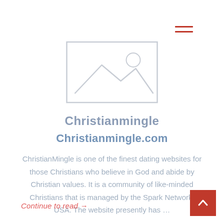[Figure (illustration): Hamburger menu icon with two red horizontal bars]
[Figure (illustration): Placeholder image icon showing mountains and sun outline inside a rectangle]
Christianmingle
Christianmingle.com
ChristianMingle is one of the finest dating websites for those Christians who believe in God and abide by Christian values. It is a community of like-minded Christians that is managed by the Spark Network, USA. The website presently has ...
Continue to read →